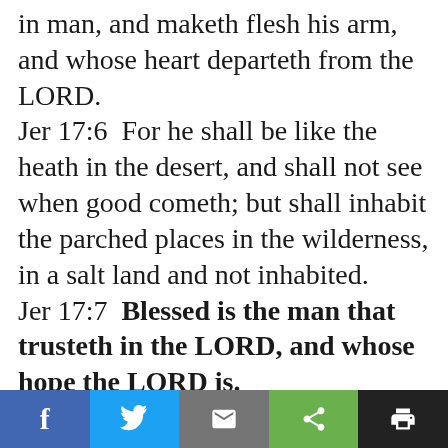in man, and maketh flesh his arm, and whose heart departeth from the LORD. Jer 17:6  For he shall be like the heath in the desert, and shall not see when good cometh; but shall inhabit the parched places in the wilderness, in a salt land and not inhabited. Jer 17:7  Blessed is the man that trusteth in the LORD, and whose hope the LORD is. Jer 17:8  For he shall be as a tree planted by the waters, and that spreadeth out her roots by the river, and shall not see when heat cometh, but her leaf shall be
[Figure (other): Social sharing toolbar with five buttons: Facebook (blue, f icon), Twitter (light blue, bird icon), Email (gray, envelope icon), Share (green, share icon), Print (black, printer icon)]